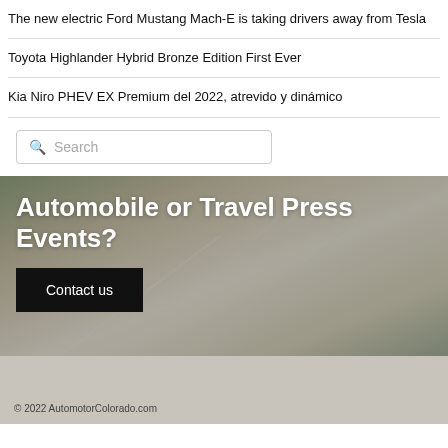The new electric Ford Mustang Mach-E is taking drivers away from Tesla
Toyota Highlander Hybrid Bronze Edition First Ever
Kia Niro PHEV EX Premium del 2022, atrevido y dinámico
[Figure (screenshot): Search input box with magnifying glass icon and placeholder text 'Search']
[Figure (photo): Blurred road/driving background image with overlaid text 'Automobile or Travel Press Events?' and a black 'Contact us' button]
© 2022 AutomotorColorado.com